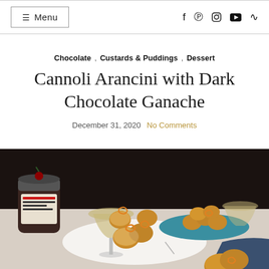≡ Menu  [social icons: facebook, pinterest, instagram, youtube, rss]
Chocolate , Custards & Puddings , Dessert
Cannoli Arancini with Dark Chocolate Ganache
December 31, 2020   No Comments
[Figure (photo): Dark moody food photography showing fried cannoli arancini balls dusted with powdered sugar, garnished with orange peel curls, arranged on white plates on a table with a coupe glass of wine, a jar of cherries, and blue-teal napkins in background.]